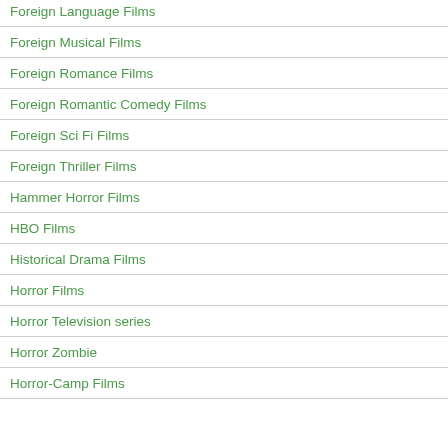Foreign Language Films
Foreign Musical Films
Foreign Romance Films
Foreign Romantic Comedy Films
Foreign Sci Fi Films
Foreign Thriller Films
Hammer Horror Films
HBO Films
Historical Drama Films
Horror Films
Horror Television series
Horror Zombie
Horror-Camp Films